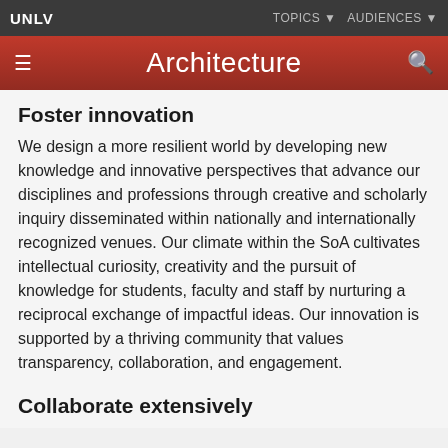UNLV   TOPICS ▼   AUDIENCES ▼
Architecture
Foster innovation
We design a more resilient world by developing new knowledge and innovative perspectives that advance our disciplines and professions through creative and scholarly inquiry disseminated within nationally and internationally recognized venues. Our climate within the SoA cultivates intellectual curiosity, creativity and the pursuit of knowledge for students, faculty and staff by nurturing a reciprocal exchange of impactful ideas. Our innovation is supported by a thriving community that values transparency, collaboration, and engagement.
Collaborate extensively